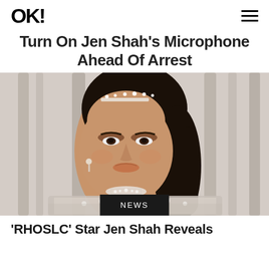OK!
Turn On Jen Shah's Microphone Ahead Of Arrest
[Figure (photo): Portrait photo of Jen Shah wearing a sparkling crystal/rhinestone embellished gown with a high neck and a diamond tiara, with dark hair swept back, posing in front of a light background with bare trees]
NEWS
'RHOSLC' Star Jen Shah Reveals